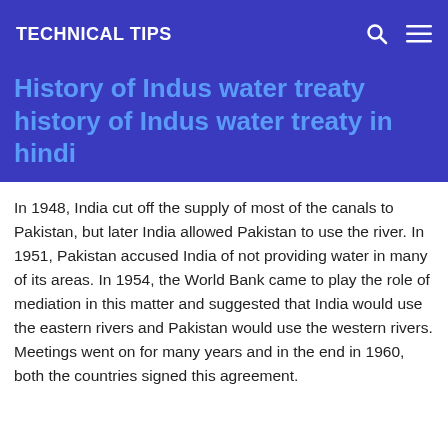TECHNICAL TIPS
History of Indus water treaty history of Indus water treaty in hindi
In 1948, India cut off the supply of most of the canals to Pakistan, but later India allowed Pakistan to use the river. In 1951, Pakistan accused India of not providing water in many of its areas. In 1954, the World Bank came to play the role of mediation in this matter and suggested that India would use the eastern rivers and Pakistan would use the western rivers. Meetings went on for many years and in the end in 1960, both the countries signed this agreement.